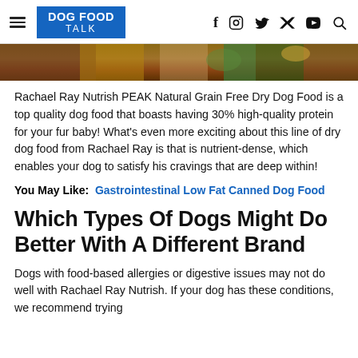DOG FOOD TALK
[Figure (photo): Partial image of dog food ingredients on a wooden surface with vegetables and meat]
Rachael Ray Nutrish PEAK Natural Grain Free Dry Dog Food is a top quality dog food that boasts having 30% high-quality protein for your fur baby! What's even more exciting about this line of dry dog food from Rachael Ray is that is nutrient-dense, which enables your dog to satisfy his cravings that are deep within!
You May Like: Gastrointestinal Low Fat Canned Dog Food
Which Types Of Dogs Might Do Better With A Different Brand
Dogs with food-based allergies or digestive issues may not do well with Rachael Ray Nutrish. If your dog has these conditions, we recommend trying